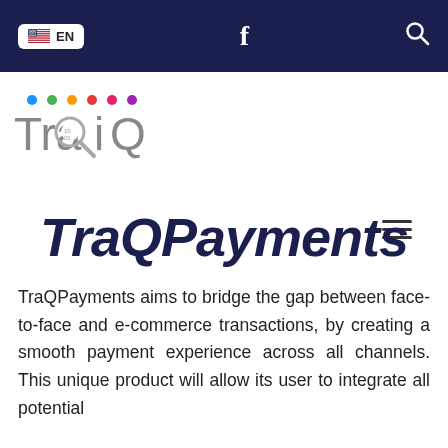EN | f | 🔍
[Figure (logo): TraQiQ logo with colored dots above and magnifying glass icon]
TraQPayments
TraQPayments aims to bridge the gap between face-to-face and e-commerce transactions, by creating a smooth payment experience across all channels. This unique product will allow its user to integrate all potential